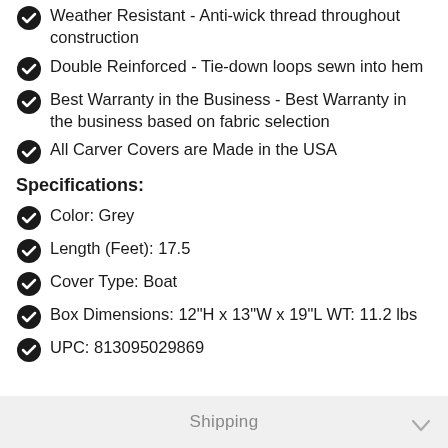Weather Resistant - Anti-wick thread throughout construction
Double Reinforced - Tie-down loops sewn into hem
Best Warranty in the Business - Best Warranty in the business based on fabric selection
All Carver Covers are Made in the USA
Specifications:
Color: Grey
Length (Feet): 17.5
Cover Type: Boat
Box Dimensions: 12"H x 13"W x 19"L WT: 11.2 lbs
UPC: 813095029869
Shipping